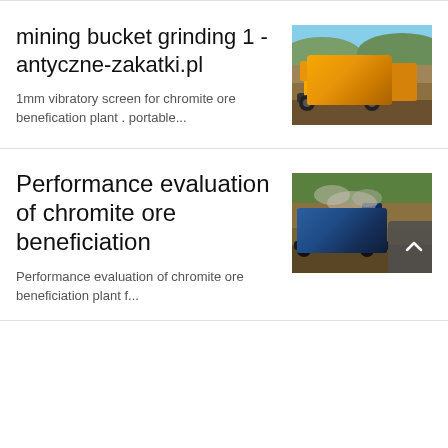mining bucket grinding 1 - antyczne-zakatki.pl
[Figure (photo): Yellow mining crusher/screening machine on rocky terrain with hills in background]
1mm vibratory screen for chromite ore benefication plant . portable...
Performance evaluation of chromite ore beneficiation
[Figure (photo): Blue crusher machine operating with dust/smoke on gravel ground with green vegetation in background]
Performance evaluation of chromite ore beneficiation plant f...